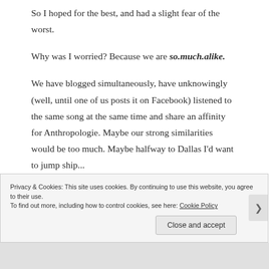So I hoped for the best, and had a slight fear of the worst.
Why was I worried? Because we are so.much.alike.
We have blogged simultaneously, have unknowingly (well, until one of us posts it on Facebook) listened to the same song at the same time and share an affinity for Anthropologie. Maybe our strong similarities would be too much. Maybe halfway to Dallas I'd want to jump ship...
Privacy & Cookies: This site uses cookies. By continuing to use this website, you agree to their use.
To find out more, including how to control cookies, see here: Cookie Policy
Close and accept